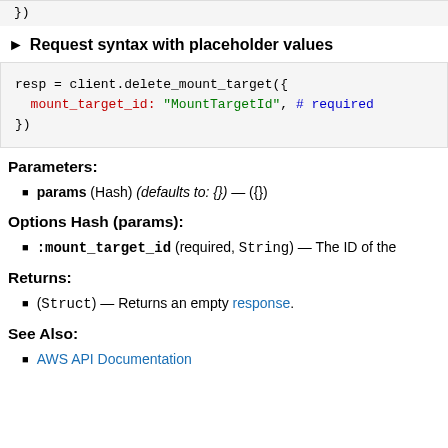})
► Request syntax with placeholder values
[Figure (screenshot): Code block showing: resp = client.delete_mount_target({ mount_target_id: "MountTargetId", # required })]
Parameters:
params (Hash) (defaults to: {}) — ({})
Options Hash (params):
:mount_target_id (required, String) — The ID of the
Returns:
(Struct) — Returns an empty response.
See Also:
AWS API Documentation